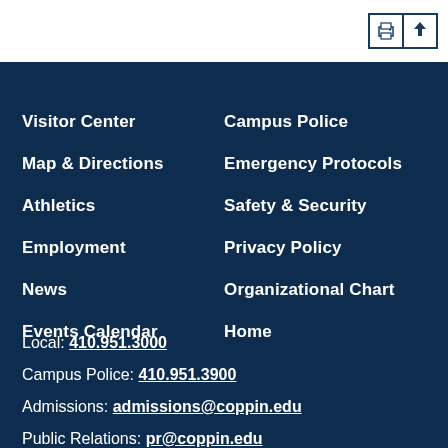[Figure (other): Print and scroll-to-top icon buttons in top-right corner]
Visitor Center
Map & Directions
Athletics
Employment
News
Events Calendar
Campus Police
Emergency Protocols
Safety & Security
Privacy Policy
Organizational Chart
Home
Local: 410.951.3000
Campus Police: 410.951.3900
Admissions: admissions@coppin.edu
Public Relations: pr@coppin.edu